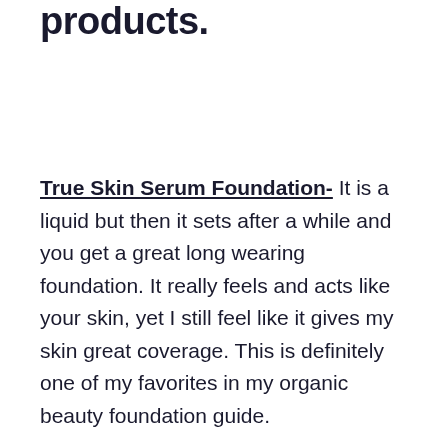products.
True Skin Serum Foundation-  It is a liquid but then it sets after a while and you get a great long wearing foundation.  It really feels and acts like your skin, yet I still feel like it gives my skin great coverage. This is definitely one of my favorites in my organic beauty foundation guide.